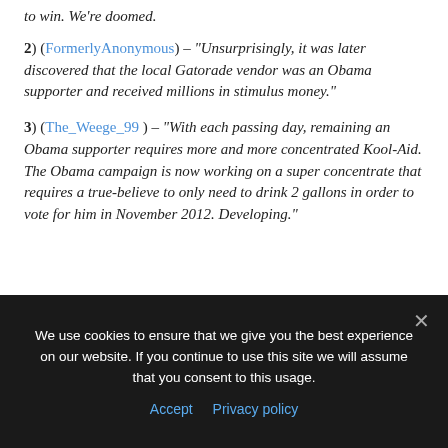to win. We're doomed.
2) (FormerlyAnonymous) – "Unsurprisingly, it was later discovered that the local Gatorade vendor was an Obama supporter and received millions in stimulus money."
3) (The_Weege_99) – "With each passing day, remaining an Obama supporter requires more and more concentrated Kool-Aid. The Obama campaign is now working on a super concentrate that requires a true-believe to only need to drink 2 gallons in order to vote for him in November 2012. Developing."
We use cookies to ensure that we give you the best experience on our website. If you continue to use this site we will assume that you consent to this usage.
Accept  Privacy policy